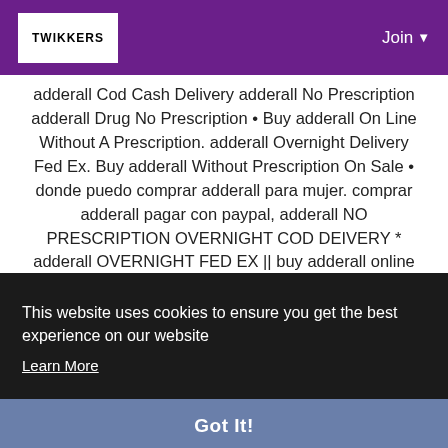TWIKKERS | Join
adderall Cod Cash Delivery adderall No Prescription adderall Drug No Prescription • Buy adderall On Line Without A Prescription. adderall Overnight Delivery Fed Ex. Buy adderall Without Prescription On Sale • donde puedo comprar adderall para mujer. comprar adderall pagar con paypal, adderall NO PRESCRIPTION OVERNIGHT COD DEIVERY * adderall OVERNIGHT FED EX || buy adderall online usa ~ adderall ONLINE NO PRESCRIPTION
This website uses cookies to ensure you get the best experience on our website
Learn More
Got It!